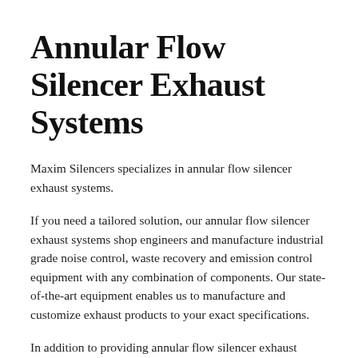Annular Flow Silencer Exhaust Systems
Maxim Silencers specializes in annular flow silencer exhaust systems.
If you need a tailored solution, our annular flow silencer exhaust systems shop engineers and manufacture industrial grade noise control, waste recovery and emission control equipment with any combination of components. Our state-of-the-art equipment enables us to manufacture and customize exhaust products to your exact specifications.
In addition to providing annular flow silencer exhaust